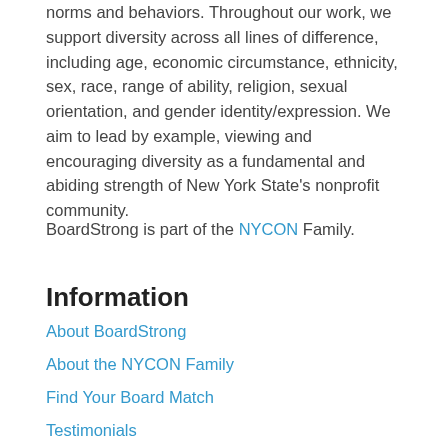norms and behaviors. Throughout our work, we support diversity across all lines of difference, including age, economic circumstance, ethnicity, sex, race, range of ability, religion, sexual orientation, and gender identity/expression. We aim to lead by example, viewing and encouraging diversity as a fundamental and abiding strength of New York State's nonprofit community.
BoardStrong is part of the NYCON Family.
Information
About BoardStrong
About the NYCON Family
Find Your Board Match
Testimonials
Contact Us
More Resources
Board Resources Guide